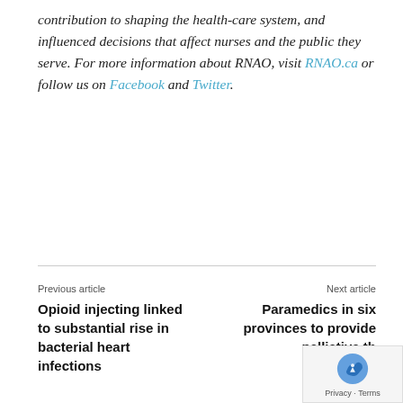contribution to shaping the health-care system, and influenced decisions that affect nurses and the public they serve. For more information about RNAO, visit RNAO.ca or follow us on Facebook and Twitter.
Previous article
Opioid injecting linked to substantial rise in bacterial heart infections
Next article
Paramedics in six provinces to provide palliative th…